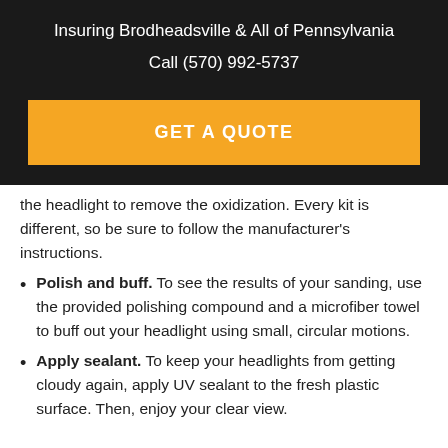Insuring Brodheadsville & All of Pennsylvania
Call (570) 992-5737
[Figure (other): Orange button with white bold text 'GET A QUOTE']
the headlight to remove the oxidization. Every kit is different, so be sure to follow the manufacturer's instructions.
Polish and buff. To see the results of your sanding, use the provided polishing compound and a microfiber towel to buff out your headlight using small, circular motions.
Apply sealant. To keep your headlights from getting cloudy again, apply UV sealant to the fresh plastic surface. Then, enjoy your clear view.